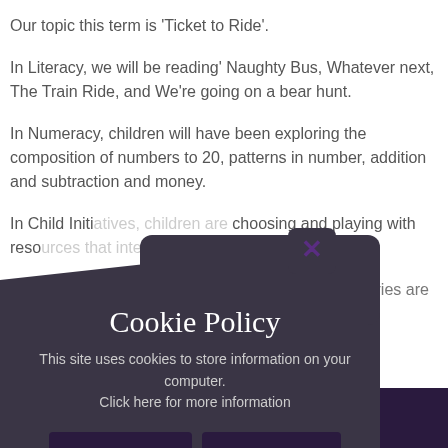Our topic this term is 'Ticket to Ride'.
In Literacy, we will be reading' Naughty Bus, Whatever next, The Train Ride, and We're going on a bear hunt.
In Numeracy, children will have been exploring the composition of numbers to 20, patterns in number, addition and subtraction and money.
In Child Initiatives, children are choosing and playing with resources that interest them.
In [obscured] stories are [obscured]
HOME LEARNING:
[Figure (screenshot): Cookie Policy popup overlay with dark background, title 'Cookie Policy', body text 'This site uses cookies to store information on your computer. Click here for more information', and two buttons: 'Allow Cookies' and 'Deny Cookies'. There is a close X button at the top right of the popup.]